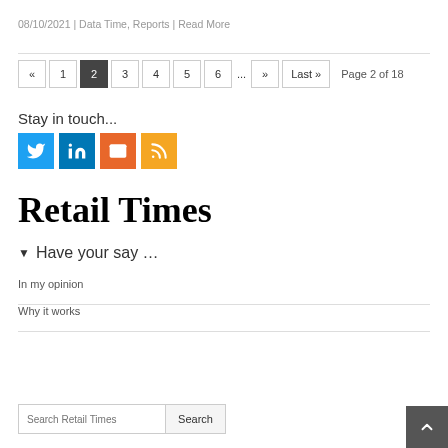08/10/2021 | Data Time, Reports | Read More
« 1 2 3 4 5 6 ... » Last » Page 2 of 18
Stay in touch...
[Figure (illustration): Social media icons: Twitter (blue), LinkedIn (dark blue), Email (orange), RSS (amber)]
Retail Times
▼ Have your say …
In my opinion
Why it works
Search Retail Times